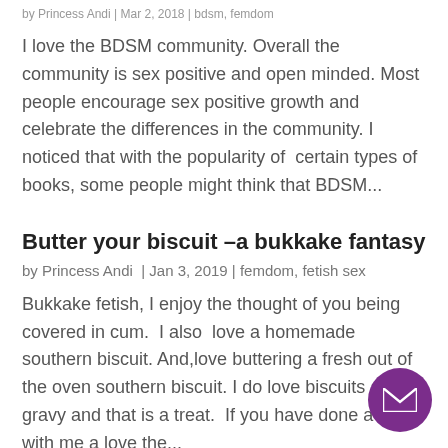by Princess Andi | Mar 2, 2018 | bdsm, femdom
I love the BDSM community. Overall the community is sex positive and open minded. Most people encourage sex positive growth and celebrate the differences in the community. I noticed that with the popularity of  certain types of books, some people might think that BDSM...
Butter your biscuit –a bukkake fantasy
by Princess Andi  |  Jan 3, 2019  |  femdom, fetish sex
Bukkake fetish, I enjoy the thought of you being covered in cum.  I also  love a homemade southern biscuit. And,love buttering a fresh out of the oven southern biscuit. I do love biscuits and gravy and that is a treat.  If you have done a call with me a love the...